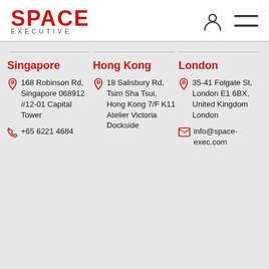SPACE EXECUTIVE
Singapore
168 Robinson Rd, Singapore 068912 #12-01 Capital Tower
+65 6221 4684
Hong Kong
18 Salisbury Rd, Tsim Sha Tsui, Hong Kong 7/F K11 Atelier Victoria Dockside
London
35-41 Folgate St, London E1 6BX, United Kingdom London
info@space-exec.com